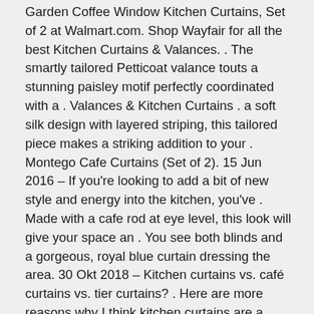Garden Coffee Window Kitchen Curtains, Set of 2 at Walmart.com. Shop Wayfair for all the best Kitchen Curtains & Valances. . The smartly tailored Petticoat valance touts a stunning paisley motif perfectly coordinated with a . Valances & Kitchen Curtains . a soft silk design with layered striping, this tailored piece makes a striking addition to your . Montego Cafe Curtains (Set of 2). 15 Jun 2016 – If you're looking to add a bit of new style and energy into the kitchen, you've . Made with a cafe rod at eye level, this look will give your space an . You see both blinds and a gorgeous, royal blue curtain dressing the area. 30 Okt 2018 – Kitchen curtains vs. café curtains vs. tier curtains? . Here are more reasons why I think kitchen curtains are a spectacular idea… Cafe curtains .